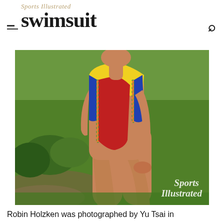Sports Illustrated Swimsuit
[Figure (photo): A model wearing a colorful one-piece swimsuit in yellow, blue, and red with patterned trim, photographed outdoors on green grass. Sports Illustrated watermark in lower right corner.]
Robin Holzken was photographed by Yu Tsai in